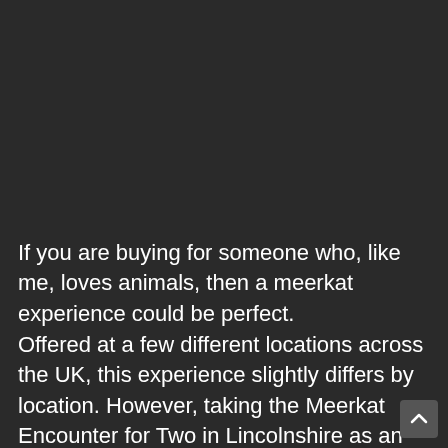If you are buying for someone who, like me, loves animals, then a meerkat experience could be perfect.
Offered at a few different locations across the UK, this experience slightly differs by location. However, taking the Meerkat Encounter for Two in Lincolnshire as an example you will spend 30 minutes getting up close and personal with these beautiful animals, alongside a trained zookeeper.